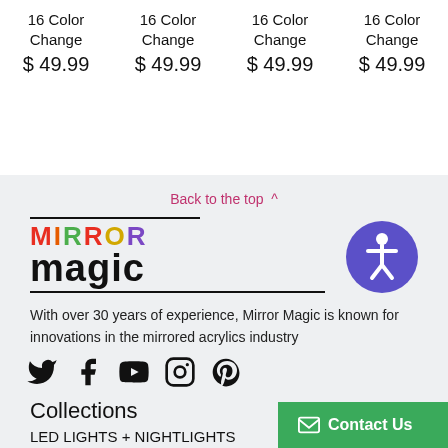16 Color Change $ 49.99
16 Color Change $ 49.99
16 Color Change $ 49.99
16 Color Change $ 49.99
Back to the top ^
[Figure (logo): Mirror Magic logo with colorful MIRROR text and bold black magic text]
[Figure (other): Accessibility icon - blue/purple circle with person figure]
With over 30 years of experience, Mirror Magic is known for innovations in the mirrored acrylics industry
[Figure (other): Social media icons: Twitter, Facebook, YouTube, Instagram, Pinterest]
Collections
LED LIGHTS + NIGHTLIGHTS
Contact Us